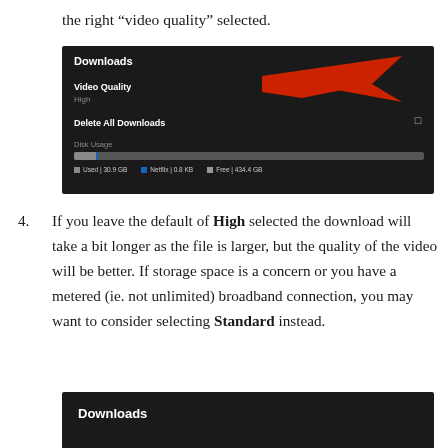the right “video quality” selected.
[Figure (screenshot): Netflix Downloads settings screen showing Video Quality set to High, Delete All Downloads option, disk usage bar with Used 30.9 GB, Netflix 0.8 KB, Free 434.4 GB, with red arrow pointing to Video Quality]
If you leave the default of High selected the download will take a bit longer as the file is larger, but the quality of the video will be better. If storage space is a concern or you have a metered (ie. not unlimited) broadband connection, you may want to consider selecting Standard instead.
[Figure (screenshot): Netflix Downloads settings screen (partial), showing Downloads heading]